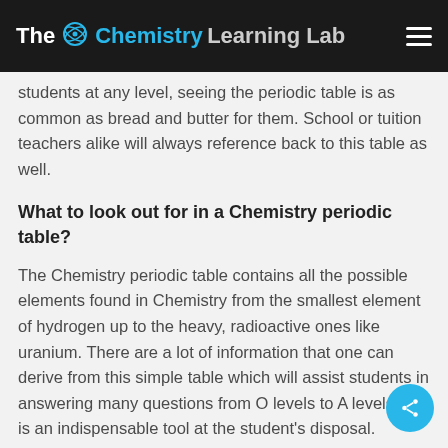The Chemistry Learning Lab
students at any level, seeing the periodic table is as common as bread and butter for them. School or tuition teachers alike will always reference back to this table as well.
What to look out for in a Chemistry periodic table?
The Chemistry periodic table contains all the possible elements found in Chemistry from the smallest element of hydrogen up to the heavy, radioactive ones like uranium. There are a lot of information that one can derive from this simple table which will assist students in answering many questions from O levels to A levels and is an indispensable tool at the student's disposal.
The mass number which is the larger of two numbers found in each box of the table signifies the